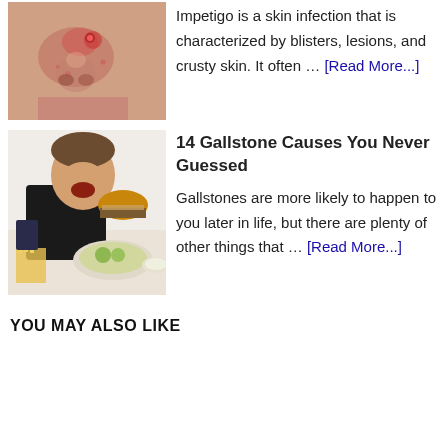[Figure (photo): Close-up photo of a person's face showing skin with redness, blisters and lesions near nose area — impetigo symptoms]
Impetigo is a skin infection that is characterized by blisters, lesions, and crusty skin. It often … [Read More...]
[Figure (photo): Photo of an overweight woman eating a large meal with burger, fries, and multiple dishes on a table]
14 Gallstone Causes You Never Guessed
Gallstones are more likely to happen to you later in life, but there are plenty of other things that … [Read More...]
YOU MAY ALSO LIKE